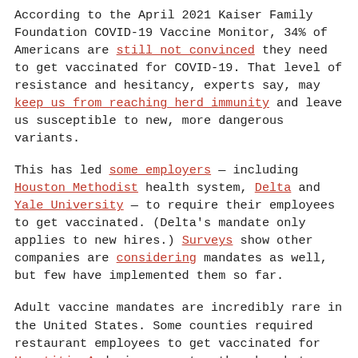According to the April 2021 Kaiser Family Foundation COVID-19 Vaccine Monitor, 34% of Americans are still not convinced they need to get vaccinated for COVID-19. That level of resistance and hesitancy, experts say, may keep us from reaching herd immunity and leave us susceptible to new, more dangerous variants.
This has led some employers — including Houston Methodist health system, Delta and Yale University — to require their employees to get vaccinated. (Delta's mandate only applies to new hires.) Surveys show other companies are considering mandates as well, but few have implemented them so far.
Adult vaccine mandates are incredibly rare in the United States. Some counties required restaurant employees to get vaccinated for Hepatitis A during recent outbreaks, but mandates have historically been limited to health care settings and children. Research from those examples suggests mandates would increase vaccination rates and contribute